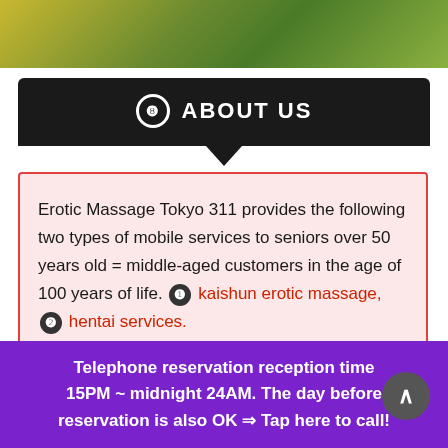[Figure (photo): Decorative image with yellow and green diagonal stripes or foliage at the top of the page]
❽  ABOUT US
Erotic Massage Tokyo 311 provides the following two types of mobile services to seniors over 50 years old = middle-aged customers in the age of 100 years of life. ❶ kaishun erotic massage, ❷ hentai services.

It is said that kaishun Erotic massage has its
Telephone reservation reception time 15PM ~ midnight 24AM. The day before reservation is also OK ⇒ Tap here to call!